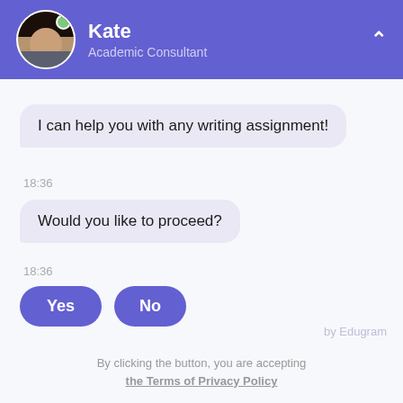Kate — Academic Consultant
I can help you with any writing assignment!
18:36
Would you like to proceed?
18:36
Yes   No
by Edugram
By clicking the button, you are accepting the Terms of Privacy Policy